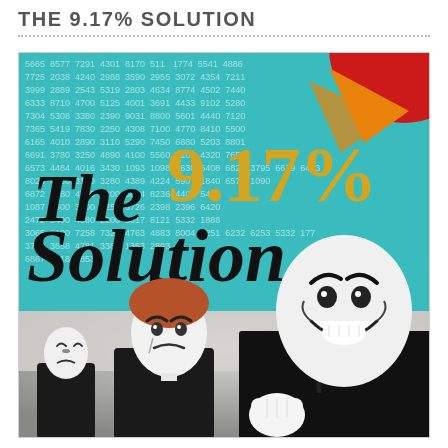THE 9.17% SOLUTION
[Figure (illustration): Book cover for 'The 9.17% Solution' featuring a teal background with numbers, a red circle and orange arrow graphic in the top right, bold title text 'The 9.17% Solution', and a photo of three people wearing mime makeup in black suits — one smiling/laughing in the foreground holding a white-gloved fist up, and two sad-faced mimes behind.]